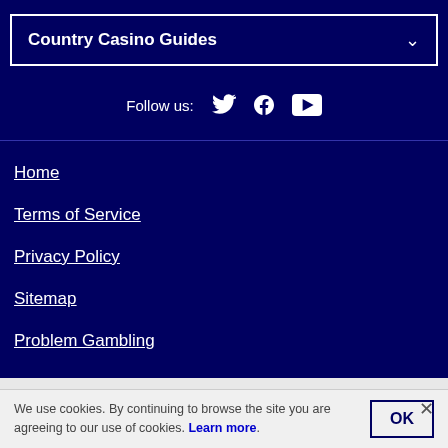Country Casino Guides
Follow us:
Home
Terms of Service
Privacy Policy
Sitemap
Problem Gambling
Casino.org website is certified by:
We use cookies. By continuing to browse the site you are agreeing to our use of cookies. Learn more.